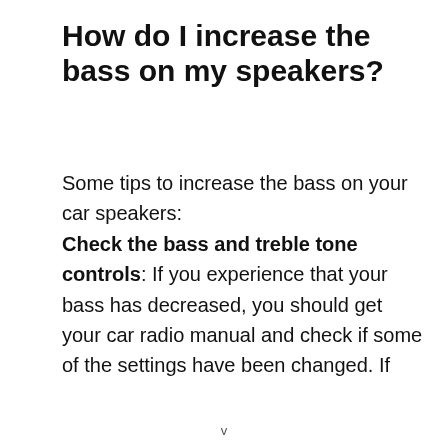How do I increase the bass on my speakers?
Some tips to increase the bass on your car speakers: Check the bass and treble tone controls: If you experience that your bass has decreased, you should get your car radio manual and check if some of the settings have been changed. If you feel the treble has been turned up and the bass has been turned now, adjust them according to your need. Another thing is to adjust the fade to favour the rear speakers since they have bigger...
v